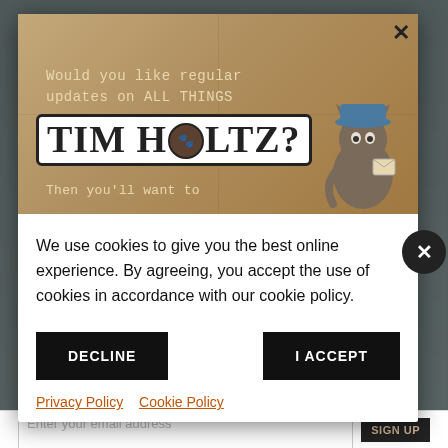[Figure (screenshot): Tim Holtz newsletter signup popup banner with tan/brown background, white serif text 'Would you like regular updates on ALL THINGS' and large bold 'TIM HOLTZ?' logo, and a cartoon cat illustration on the right]
We use cookies to give you the best online experience. By agreeing, you accept the use of cookies in accordance with our cookie policy.
DECLINE
I ACCEPT
Privacy Policy  Cookie Policy
Enter your email address
Sign Up